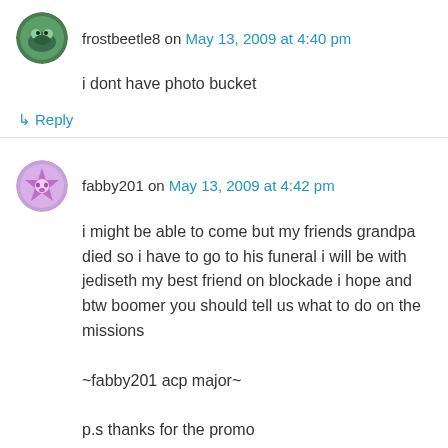frostbeetle8 on May 13, 2009 at 4:40 pm
i dont have photo bucket
↳ Reply
fabby201 on May 13, 2009 at 4:42 pm
i might be able to come but my friends grandpa died so i have to go to his funeral i will be with jediseth my best friend on blockade i hope and btw boomer you should tell us what to do on the missions
~fabby201 acp major~
p.s thanks for the promo
↳ Reply